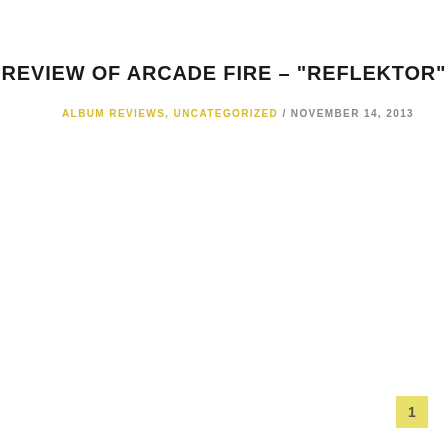REVIEW OF ARCADE FIRE – "REFLEKTOR"
ALBUM REVIEWS, UNCATEGORIZED / NOVEMBER 14, 2013
1